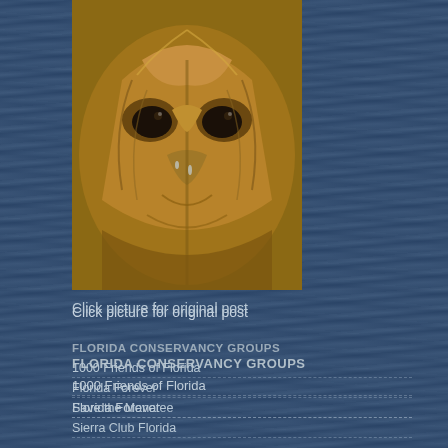[Figure (photo): Close-up painting/illustration of a sea turtle face, showing detailed brown and golden shell patterns, two eyes, and textured skin]
Click picture for original post
FLORIDA CONSERVANCY GROUPS
1000 Friends of Florida
Florida Forever
Save the Manatee
Sierra Club Florida
FUN SITES TO EXPLORE — YOU NEVER KNOW WHAT YOU MAY F
A Vintage Cottage Home
Art Things By Sharon
Artfire